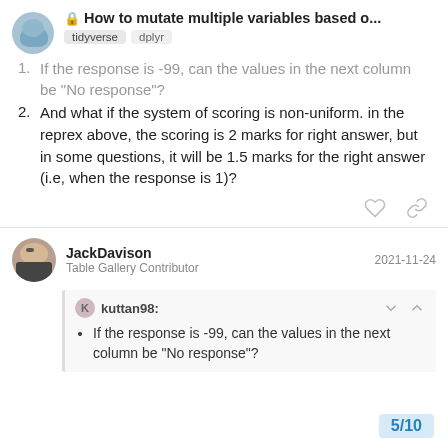How to mutate multiple variables based o... | tidyverse | dplyr
1. If the response is -99, can the values in the next column be "No response"?
2. And what if the system of scoring is non-uniform. in the reprex above, the scoring is 2 marks for right answer, but in some questions, it will be 1.5 marks for the right answer (i.e, when the response is 1)?
JackDavison — Table Gallery Contributor — 2021-11-24
kuttan98: If the response is -99, can the values in the next column be "No response"?
5/10